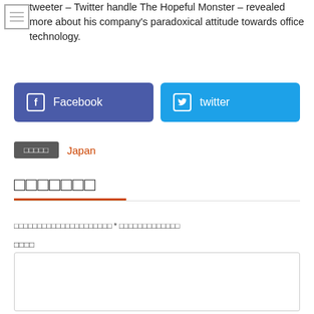tweeter – Twitter handle The Hopeful Monster – revealed more about his company's paradoxical attitude towards office technology.
[Figure (other): Facebook share button (blue/purple) and Twitter share button (light blue) side by side]
□□□□□  Japan
□□□□□□□
□□□□□□□□□□□□□□□□□□□□□ * □□□□□□□□□□□□□
□□□□
[Figure (other): Text input area (comment box)]